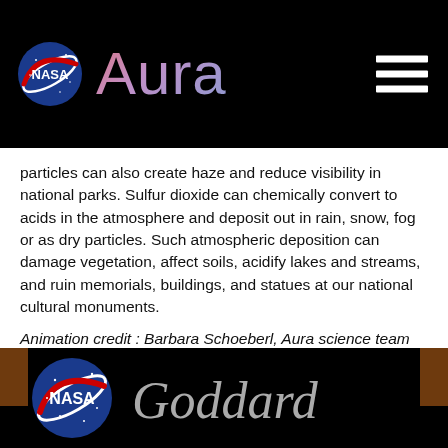NASA Aura
particles can also create haze and reduce visibility in national parks. Sulfur dioxide can chemically convert to acids in the atmosphere and deposit out in rain, snow, fog or as dry particles. Such atmospheric deposition can damage vegetation, affect soils, acidify lakes and streams, and ruin memorials, buildings, and statues at our national cultural monuments.
Animation credit : Barbara Schoeberl, Aura science team
4.14.2008
[Figure (logo): NASA Goddard logo in footer on black background]